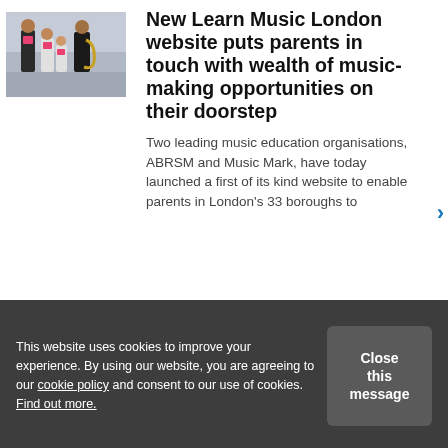[Figure (photo): Group photo of adults and children in white t-shirts with a saxophone player]
New Learn Music London website puts parents in touch with wealth of music-making opportunities on their doorstep
Two leading music education organisations, ABRSM and Music Mark, have today launched a first of its kind website to enable parents in London's 33 boroughs to
This website uses cookies to improve your experience. By using our website, you are agreeing to our cookie policy and consent to our use of cookies. Find out more.